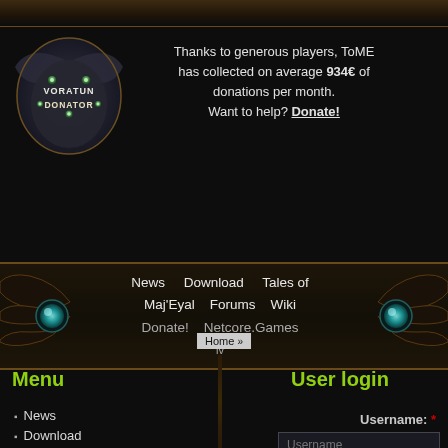[Figure (screenshot): Top banner strip with dark brownish gradient]
[Figure (illustration): Voratun Donator badge - dragon/shield emblem with glowing green eyes and text VORATUN DONATOR]
Thanks to generous players, ToME has collected on average 934€ of donations per month. Want to help? Donate!
[Figure (illustration): Navigation bar with decorative dragon-wing ornaments and glowing teal orbs on left and right ends]
News   Download   Tales of
Maj'Eyal   Forums   Wiki
Donate!   Netcore.Games
iv
Home »
Menu
News
Download
Tales of Maj'Eyal
User login
Username: *
Username